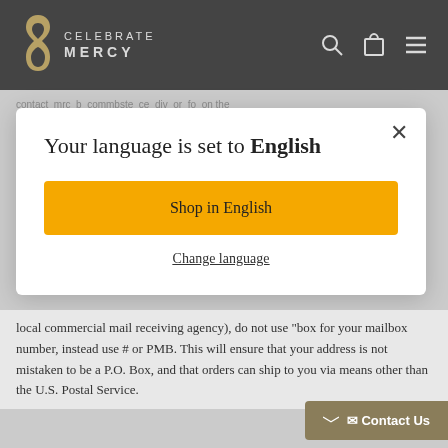CELEBRATE MERCY
contact_mrc_b_co_mmb_ste_ce_div_or_fo_on_the
Your language is set to English
Shop in English
Change language
local commercial mail receiving agency), do not use 'box for your mailbox number, instead use # or PMB. This will ensure that your address is not mistaken to be a P.O. Box, and that orders can ship to you via means other than the U.S. Postal Service.
Contact Us